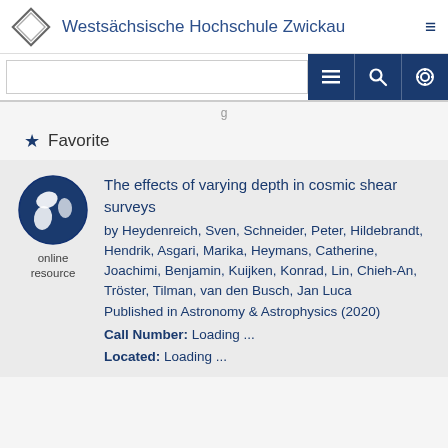Westsächsische Hochschule Zwickau
[Figure (screenshot): Search bar with navigation buttons (list, search, settings) on dark blue background]
Favorite
The effects of varying depth in cosmic shear surveys by Heydenreich, Sven, Schneider, Peter, Hildebrandt, Hendrik, Asgari, Marika, Heymans, Catherine, Joachimi, Benjamin, Kuijken, Konrad, Lin, Chieh-An, Tröster, Tilman, van den Busch, Jan Luca Published in Astronomy & Astrophysics (2020) Call Number: Loading ... Located: Loading ...